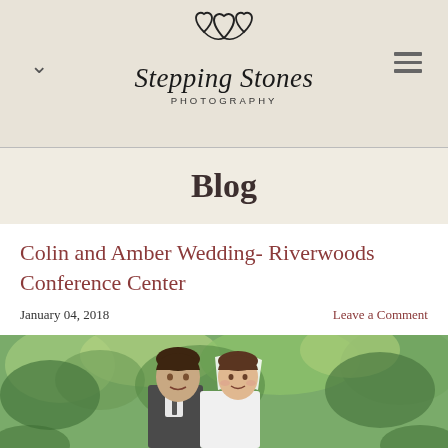[Figure (logo): Stepping Stones Photography logo with two interlinked hearts above the brand name in script font]
Blog
Colin and Amber Wedding- Riverwoods Conference Center
January 04, 2018
Leave a Comment
[Figure (photo): Wedding photo of a young couple, groom in suit and bride in white dress, smiling, outdoors with green trees in background]